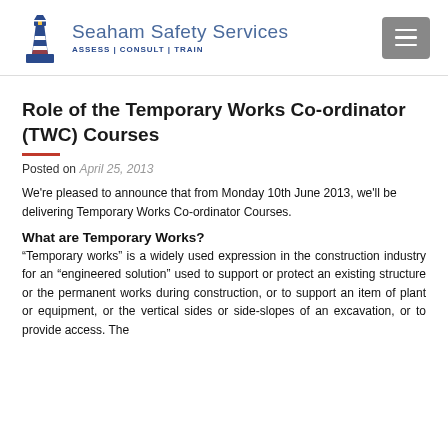Seaham Safety Services — ASSESS | CONSULT | TRAIN
Role of the Temporary Works Co-ordinator (TWC) Courses
Posted on April 25, 2013
We're pleased to announce that from Monday 10th June 2013, we'll be delivering Temporary Works Co-ordinator Courses.
What are Temporary Works?
“Temporary works” is a widely used expression in the construction industry for an “engineered solution” used to support or protect an existing structure or the permanent works during construction, or to support an item of plant or equipment, or the vertical sides or side-slopes of an excavation, or to provide access. The